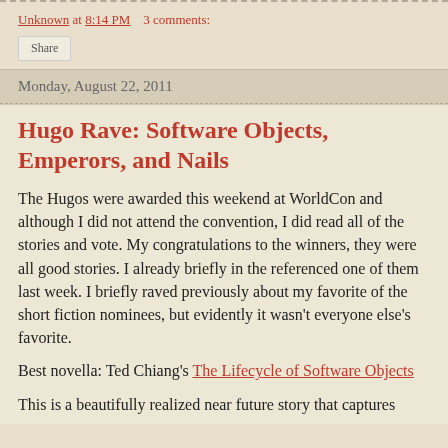Unknown at 8:14 PM   3 comments:
Share
Monday, August 22, 2011
Hugo Rave: Software Objects, Emperors, and Nails
The Hugos were awarded this weekend at WorldCon and although I did not attend the convention, I did read all of the stories and vote. My congratulations to the winners, they were all good stories. I already briefly in the referenced one of them last week. I briefly raved previously about my favorite of the short fiction nominees, but evidently it wasn't everyone else's favorite.
Best novella: Ted Chiang's The Lifecycle of Software Objects
This is a beautifully realized near future story that captures